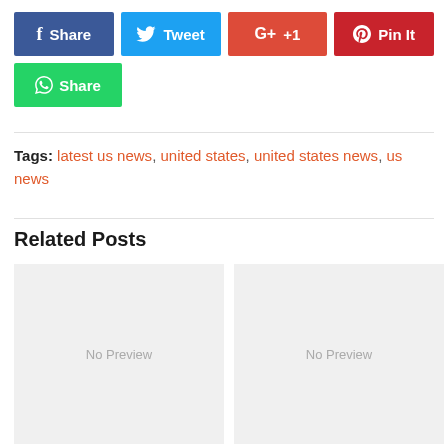[Figure (infographic): Social share buttons: Facebook Share (blue), Twitter Tweet (light blue), Google+ +1 (orange-red), Pinterest Pin It (red), WhatsApp Share (green)]
Tags: latest us news, united states, united states news, us news
Related Posts
[Figure (photo): No Preview placeholder box (left)]
[Figure (photo): No Preview placeholder box (right)]